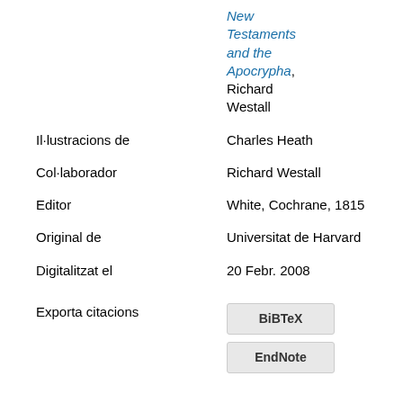|  | New Testaments and the Apocrypha, Richard Westall |
| Il·lustracions de | Charles Heath |
| Col·laborador | Richard Westall |
| Editor | White, Cochrane, 1815 |
| Original de | Universitat de Harvard |
| Digitalitzat el | 20 Febr. 2008 |
| Exporta citacions | BiBTeX
EndNote |